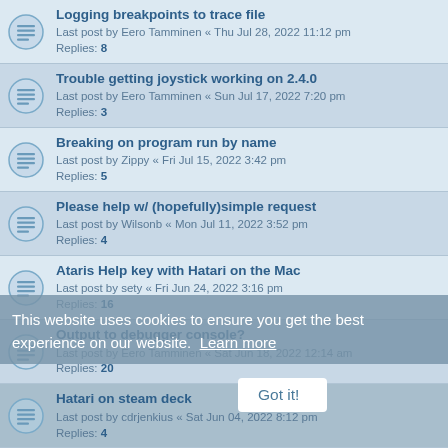Logging breakpoints to trace file
Last post by Eero Tamminen « Thu Jul 28, 2022 11:12 pm
Replies: 8
Trouble getting joystick working on 2.4.0
Last post by Eero Tamminen « Sun Jul 17, 2022 7:20 pm
Replies: 3
Breaking on program run by name
Last post by Zippy « Fri Jul 15, 2022 3:42 pm
Replies: 5
Please help w/ (hopefully)simple request
Last post by Wilsonb « Mon Jul 11, 2022 3:52 pm
Replies: 4
Ataris Help key with Hatari on the Mac
Last post by sety « Fri Jun 24, 2022 3:16 pm
Replies: 16
Output to debugger console?
Last post by Eero Tamminen « Sat Jun 18, 2022 12:14 am
Replies: 20
Hatari on steam deck
Last post by cdrjenkius « Sat Jun 04, 2022 8:12 pm
Replies: 4
Steam Deck
Last post by GaijinMo « Thu Jun 02, 2022 5:25 pm
Replies: 2
Hatari in a browser
Last post by Cyprian « Mon May 23, 2022 9:33 pm
Replies: 21
hatari: again sound not working (linux)